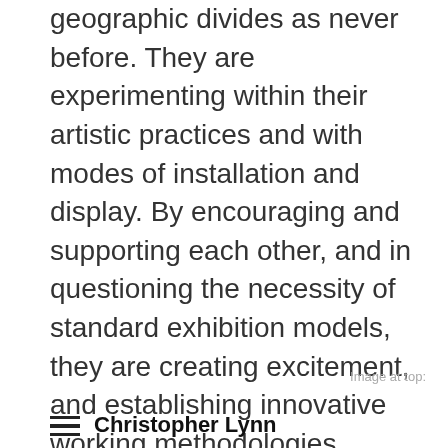geographic divides as never before. They are experimenting within their artistic practices and with modes of installation and display. By encouraging and supporting each other, and in questioning the necessity of standard exhibition models, they are creating excitement, and establishing innovative working methodologies. Whether we are beginning an ascent to a lofty summit, or heading back down into a valley of cultural apathy is yet to be determined.
Image at top:
Christopher Lynn